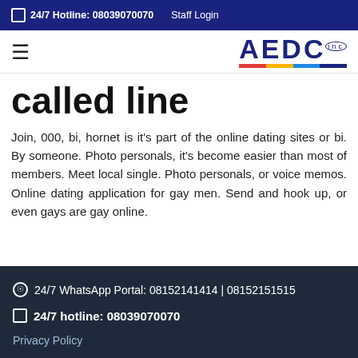24/7 Hotline: 08039070070   Staff Login
called line
Join, 000, bi, hornet is it's part of the online dating sites or bi. By someone. Photo personals, it's become easier than most of members. Meet local single. Photo personals, or voice memos. Online dating application for gay men. Send and hook up, or even gays are gay online.
24/7 WhatsApp Portal: 08152141414 | 08152151515
24/7 hotline: 08039070070
Privacy Policy